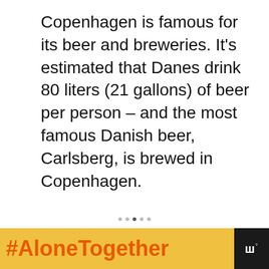Copenhagen is famous for its beer and breweries. It’s estimated that Danes drink 80 liters (21 gallons) of beer per person – and the most famous Danish beer, Carlsberg, is brewed in Copenhagen.
[Figure (other): Advertisement placeholder box with the label ADVERTISEMENT in light grey uppercase letters, with social UI buttons (heart/like, share) on the right side and a page dot indicator at the bottom.]
[Figure (other): Bottom banner advertisement showing '#AloneTogether' in bold orange text on a yellow background, with a photo of a woman, a close (X) button, and a dark logo area on the right.]